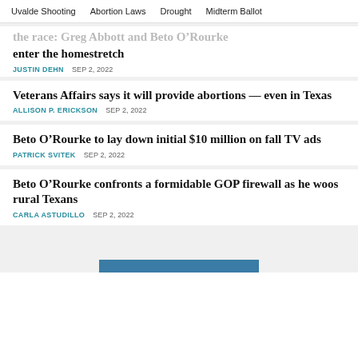Uvalde Shooting   Abortion Laws   Drought   Midterm Ballot
enter the homestretch
JUSTIN DEHN   SEP 2, 2022
Veterans Affairs says it will provide abortions — even in Texas
ALLISON P. ERICKSON   SEP 2, 2022
Beto O’Rourke to lay down initial $10 million on fall TV ads
PATRICK SVITEK   SEP 2, 2022
Beto O’Rourke confronts a formidable GOP firewall as he woos rural Texans
CARLA ASTUDILLO   SEP 2, 2022